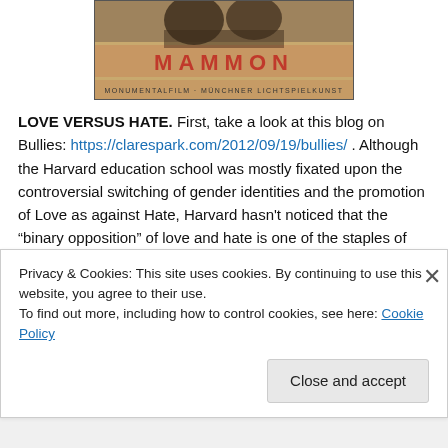[Figure (photo): Partial view of a vintage movie poster for 'MAMMON' with text 'MONUMENTALFILM · MÜNCHNER LICHTSPIELKUNST']
LOVE VERSUS HATE. First, take a look at this blog on Bullies: https://clarespark.com/2012/09/19/bullies/ . Although the Harvard education school was mostly fixated upon the controversial switching of gender identities and the promotion of Love as against Hate, Harvard hasn't noticed that the "binary opposition" of love and hate is one of the staples of Western Civilization. One of the great
Privacy & Cookies: This site uses cookies. By continuing to use this website, you agree to their use.
To find out more, including how to control cookies, see here: Cookie Policy
Close and accept